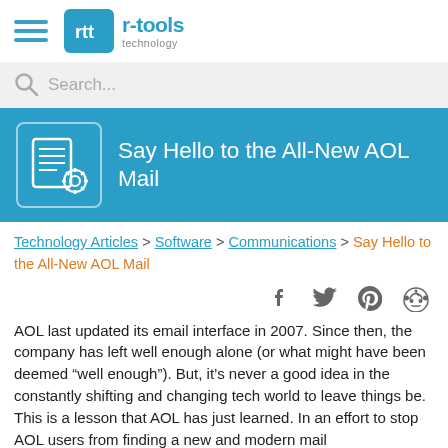r-tools technology
Search...
Say Hello to the All-New AOL Mail
Technology Articles > Software > Communications > Say Hello to the All-New AOL Mail
[Figure (infographic): Social share icons: Facebook, Twitter, Pinterest, Reddit]
AOL last updated its email interface in 2007. Since then, the company has left well enough alone (or what might have been deemed “well enough”). But, it’s never a good idea in the constantly shifting and changing tech world to leave things be. This is a lesson that AOL has just learned. In an effort to stop AOL users from finding a new and modern mail